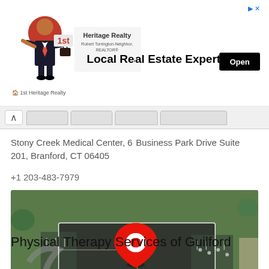[Figure (other): 1st Heritage Realty advertisement banner with logo character, text 'Local Real Estate Expert' and Open button]
[Figure (map): Aerial satellite map view of Stony Creek Medical Center at 6 Business Park Drive, Branford CT, with red location pin marker]
Stony Creek Medical Center, 6 Business Park Drive Suite 201, Branford, CT 06405
+1 203-483-7979
Physical Therapy Services of Guilford